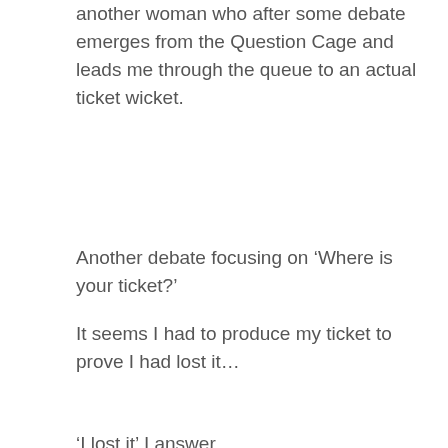another woman who after some debate emerges from the Question Cage and leads me through the queue to an actual ticket wicket.
Another debate focusing on ‘Where is your ticket?’
It seems I had to produce my ticket to prove I had lost it…
‘I lost it’ I answer.
‘Yes but where is the second ticket?’
No idea where this comes from. Maybe the note. Maybe written Chinese is as vague as Japanese. Translator 2 leaves me in the charge of Ticket-wicket